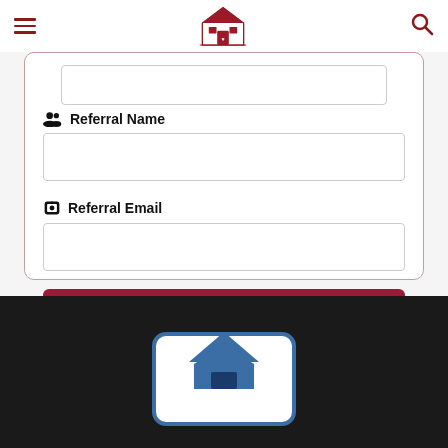[Figure (logo): The Mortgage Guidance Group logo — red house icon with text]
Referral Name
Referral Email
+ Support The Show
[Figure (illustration): House/envelope icon partially visible in dark footer area]